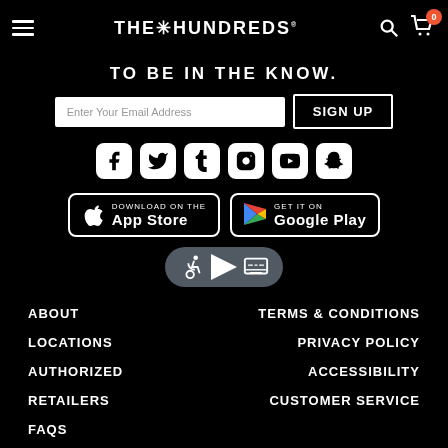THE HUNDREDS
TO BE IN THE KNOW.
Enter Your Email Address | SIGN UP
[Figure (infographic): Row of social media icons: Facebook, Twitter, Tumblr, Instagram, YouTube, Snapchat]
[Figure (infographic): Download on the App Store and Get it on Google Play buttons]
[Figure (infographic): Accessibility widget showing wheelchair and keyboard icons]
ABOUT
LOCATIONS
AUTHORIZED
RETAILERS
FAQS
TERMS & CONDITIONS
PRIVACY POLICY
ACCESSIBILITY
CUSTOMER SERVICE